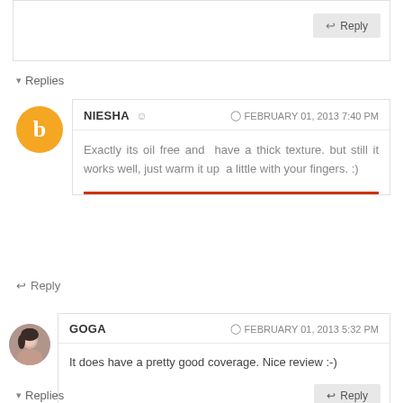Reply (button, top area)
▾ Replies
NIESHA  ◷ FEBRUARY 01, 2013 7:40 PM
Exactly its oil free and have a thick texture. but still it works well, just warm it up a little with your fingers. :)
↩ Reply
GOGA  ◷ FEBRUARY 01, 2013 5:32 PM
It does have a pretty good coverage. Nice review :-)
↩ Reply
▾ Replies